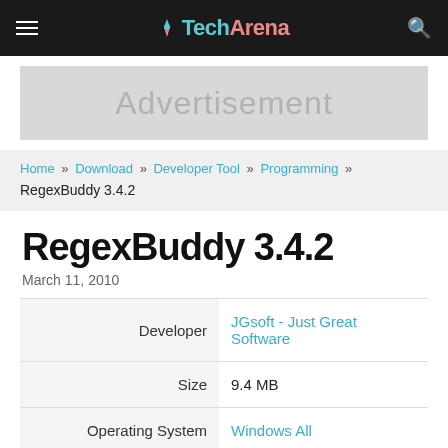TechArena
[Figure (other): Advertisement banner placeholder]
Home » Download » Developer Tool » Programming » RegexBuddy 3.4.2
RegexBuddy 3.4.2
March 11, 2010
|  |  |
| --- | --- |
| Developer | JGsoft - Just Great Software |
| Size | 9.4 MB |
| Operating System | Windows All |